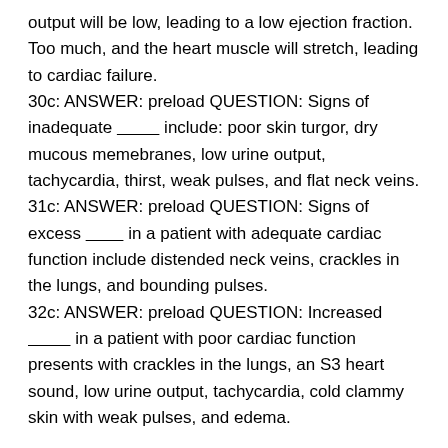output will be low, leading to a low ejection fraction.  Too much, and the heart muscle will stretch, leading to cardiac failure.
30c: ANSWER: preload QUESTION: Signs of inadequate _________ include: poor skin turgor, dry mucous memebranes, low urine output, tachycardia, thirst, weak pulses, and flat neck veins.
31c: ANSWER: preload QUESTION: Signs of excess ________ in a patient with adequate cardiac function include distended neck veins, crackles in the lungs, and bounding pulses.
32c: ANSWER: preload QUESTION: Increased _________ in a patient with poor cardiac function presents with crackles in the lungs, an S3 heart sound, low urine output, tachycardia, cold clammy skin with weak pulses, and edema.